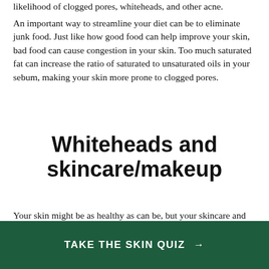likelihood of clogged pores, whiteheads, and other acne.
An important way to streamline your diet can be to eliminate junk food. Just like how good food can help improve your skin, bad food can cause congestion in your skin. Too much saturated fat can increase the ratio of saturated to unsaturated oils in your sebum, making your skin more prone to clogged pores.
Whiteheads and skincare/makeup
Your skin might be as healthy as can be, but your skincare and makeup could be to blame for your whiteheads. Skin care and
TAKE THE SKIN QUIZ →